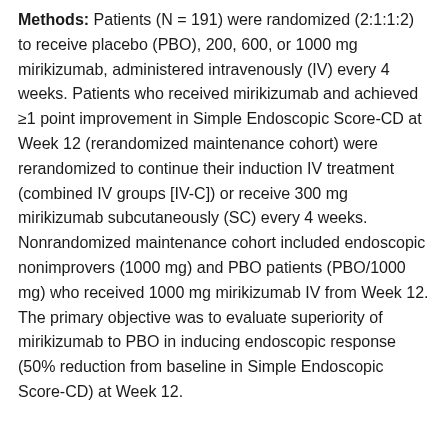Methods: Patients (N = 191) were randomized (2:1:1:2) to receive placebo (PBO), 200, 600, or 1000 mg mirikizumab, administered intravenously (IV) every 4 weeks. Patients who received mirikizumab and achieved ≥1 point improvement in Simple Endoscopic Score-CD at Week 12 (rerandomized maintenance cohort) were rerandomized to continue their induction IV treatment (combined IV groups [IV-C]) or receive 300 mg mirikizumab subcutaneously (SC) every 4 weeks. Nonrandomized maintenance cohort included endoscopic nonimprovers (1000 mg) and PBO patients (PBO/1000 mg) who received 1000 mg mirikizumab IV from Week 12. The primary objective was to evaluate superiority of mirikizumab to PBO in inducing endoscopic response (50% reduction from baseline in Simple Endoscopic Score-CD) at Week 12.